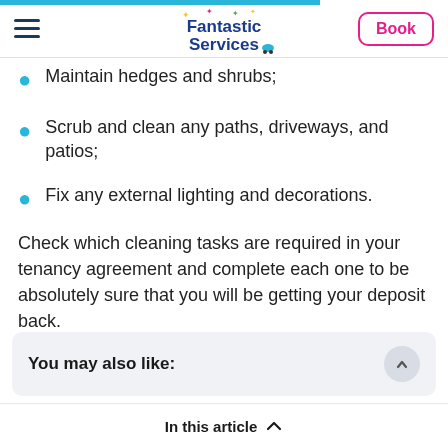Fantastic Services — navigation bar with Book button
Maintain hedges and shrubs;
Scrub and clean any paths, driveways, and patios;
Fix any external lighting and decorations.
Check which cleaning tasks are required in your tenancy agreement and complete each one to be absolutely sure that you will be getting your deposit back.
You may also like:
In this article ^